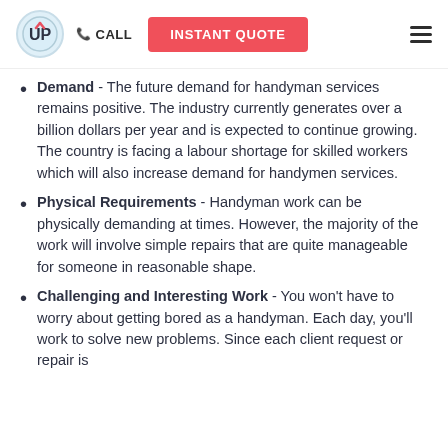UP CALL | INSTANT QUOTE
Demand - The future demand for handyman services remains positive. The industry currently generates over a billion dollars per year and is expected to continue growing. The country is facing a labour shortage for skilled workers which will also increase demand for handymen services.
Physical Requirements - Handyman work can be physically demanding at times. However, the majority of the work will involve simple repairs that are quite manageable for someone in reasonable shape.
Challenging and Interesting Work - You won't have to worry about getting bored as a handyman. Each day, you'll work to solve new problems. Since each client request or repair is